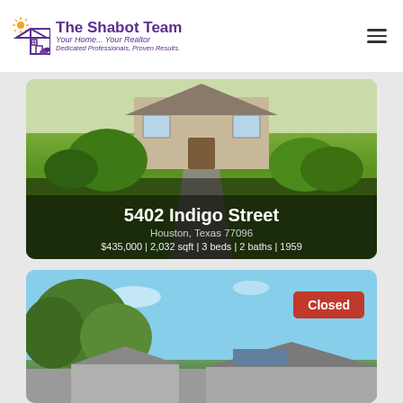[Figure (logo): The Shabot Team logo with house icon and sun, purple text reading 'The Shabot Team / Your Home... Your Realtor / Dedicated Professionals, Proven Results.']
[Figure (photo): Exterior photo of a house with green lawn and a walkway leading to the front door. The photo has a dark overlay at the bottom with text.]
5402 Indigo Street
Houston, Texas 77096
$435,000 | 2,032 sqft | 3 beds | 2 baths | 1959
[Figure (photo): Exterior photo of a house with blue sky and large trees in the foreground. A red 'Closed' badge appears in the upper right corner.]